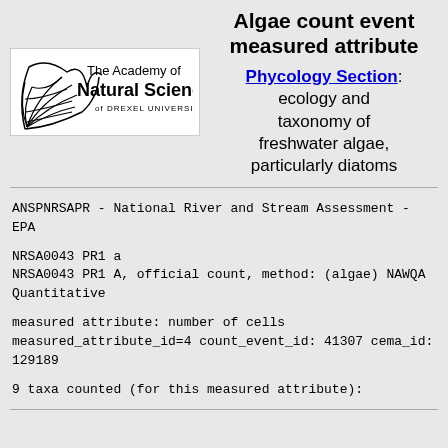Algae count event measured attribute
[Figure (logo): The Academy of Natural Sciences of Drexel University logo with stylized leaf/feather graphic on left]
Phycology Section: ecology and taxonomy of freshwater algae, particularly diatoms
ANSPNRSAPR - National River and Stream Assessment - EPA
NRSA0043 PR1 a
NRSA0043 PR1 A, official count, method: (algae) NAWQA Quantitative
measured attribute: number of cells
measured_attribute_id=4 count_event_id: 41307 cema_id: 129189
9 taxa counted (for this measured attribute):